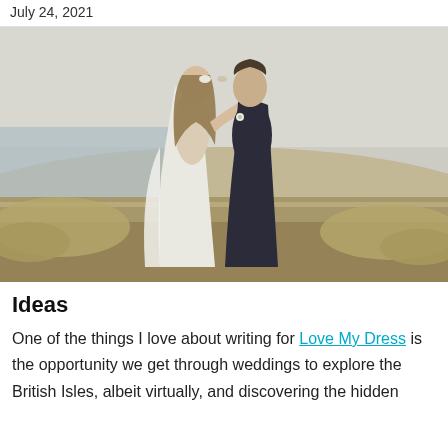July 24, 2021
[Figure (photo): A bride in a white dress and groom in a dark suit leaning their foreheads together outdoors in a coastal meadow setting]
Ideas
One of the things I love about writing for Love My Dress is the opportunity we get through weddings to explore the British Isles, albeit virtually, and discovering the hidden